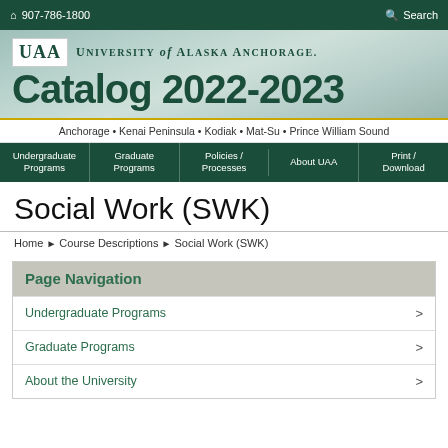907-786-1800   Search
[Figure (logo): University of Alaska Anchorage logo with UAA box and Catalog 2022-2023 text over mountain background]
Anchorage • Kenai Peninsula • Kodiak • Mat-Su • Prince William Sound
Undergraduate Programs  Graduate Programs  Policies / Processes  About UAA  Print / Download
Social Work (SWK)
Home ▶ Course Descriptions ▶ Social Work (SWK)
Page Navigation
Undergraduate Programs
Graduate Programs
About the University